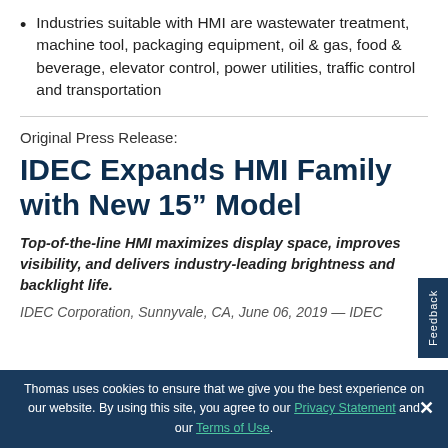Industries suitable with HMI are wastewater treatment, machine tool, packaging equipment, oil & gas, food & beverage, elevator control, power utilities, traffic control and transportation
Original Press Release:
IDEC Expands HMI Family with New 15” Model
Top-of-the-line HMI maximizes display space, improves visibility, and delivers industry-leading brightness and backlight life.
IDEC Corporation, Sunnyvale, CA, June 06, 2019 — IDEC
Thomas uses cookies to ensure that we give you the best experience on our website. By using this site, you agree to our Privacy Statement and our Terms of Use.